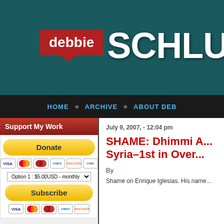[Figure (logo): Debbie Schlussel website header logo with red speech bubble 'debbie' and white text 'SCHLUS' on dark teal background]
HOME ★ ARCHIVE ★ ABOUT DEB
Support My Work
Donate
Option 1 : $5.00USD - monthly
Subscribe
July 9, 2007, - 12:04 pm
SHAME: Dhimmi A... Syria–1st in Over...
By
Shame on Enrique Iglesias. His name...